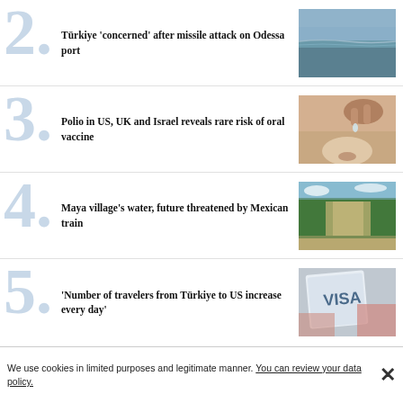2. Türkiye 'concerned' after missile attack on Odessa port
[Figure (photo): Ocean/sea horizon photo with sky]
3. Polio in US, UK and Israel reveals rare risk of oral vaccine
[Figure (photo): Hand administering oral drops to a child]
4. Maya village's water, future threatened by Mexican train
[Figure (photo): Aerial view of jungle with clearing/train construction]
5. 'Number of travelers from Türkiye to US increase every day'
[Figure (photo): Close-up of a VISA stamp/document]
We use cookies in limited purposes and legitimate manner. You can review your data policy.